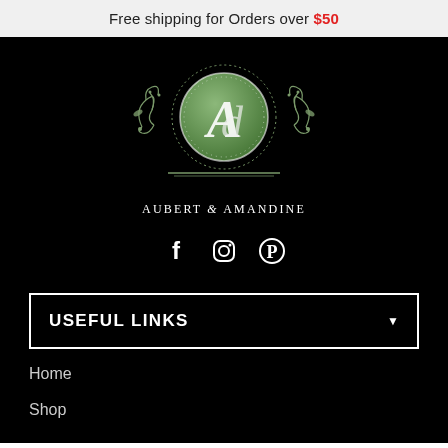Free shipping for Orders over $50
[Figure (logo): Aubert & Amandine logo: ornate circular green emblem with stylized 'A' monogram, decorative scrollwork, and brand name below]
AUBERT & AMANDINE
[Figure (infographic): Social media icons: Facebook (f), Instagram (circle camera), Pinterest (P)]
USEFUL LINKS
Home
Shop